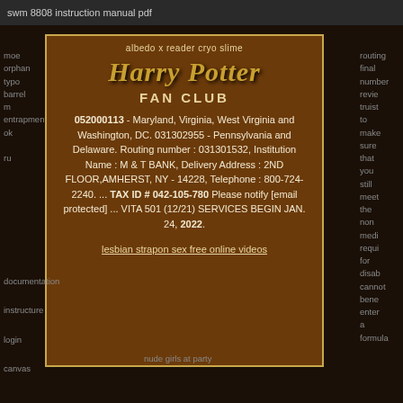swm 8808 instruction manual pdf
albedo x reader cryo slime
[Figure (illustration): Harry Potter Fan Club logo with stylized golden text]
052000113 - Maryland, Virginia, West Virginia and Washington, DC. 031302955 - Pennsylvania and Delaware. Routing number : 031301532, Institution Name : M & T BANK, Delivery Address : 2ND FLOOR,AMHERST, NY - 14228, Telephone : 800-724-2240. ... TAX ID # 042-105-780 Please notify [email protected] ... VITA 501 (12/21) SERVICES BEGIN JAN. 24, 2022.
lesbian strapon sex free online videos
moe orphan typo barrel m entrapment ok ru
routing final number revie truist to make sure that you still meet the non medi requi for disab cannot bene enter a formula
documentation instructure login canvas
nude girls at party